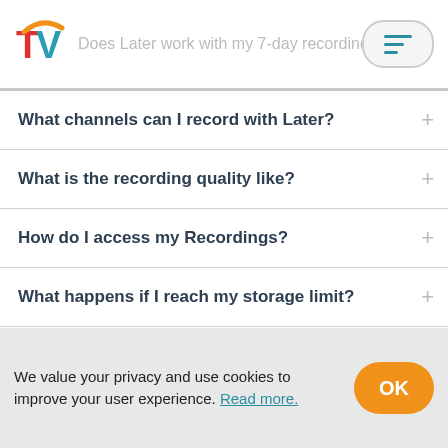Does Later work with my 7-day recordings? (echo)
What channels can I record with Later?
What is the recording quality like?
How do I access my Recordings?
What happens if I reach my storage limit?
Is Later a legal app?
We value your privacy and use cookies to improve your user experience. Read more.